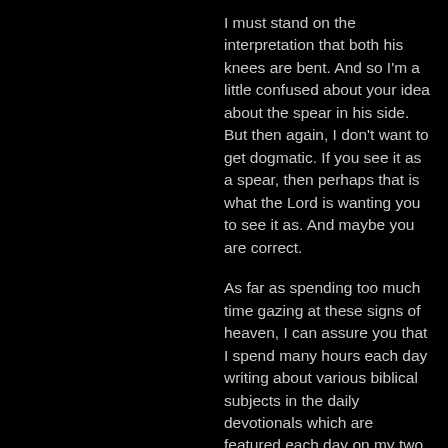I must stand on the interpretation that both his knees are bent. And so I'm a little confused about your idea about the spear in his side. But then again, I don't want to get dogmatic. If you see it as a spear, then perhaps that is what the Lord is wanting you to see it as. And maybe you are correct.
As far as spending too much time gazing at these signs of heaven, I can assure you that I spend many hours each day writing about various biblical subjects in the daily devotionals which are featured each day on my two websites.
Have you read any of the other articles on my website? Perhaps you can give feedback on those too. For instance, the Revelation 12 Dragon and the Revelation 12 Woman are very incredible constellations. And while reading, you will also hopefully notice that the focus of these signs is on the infallible Word of God, and not on the signs in heaven.